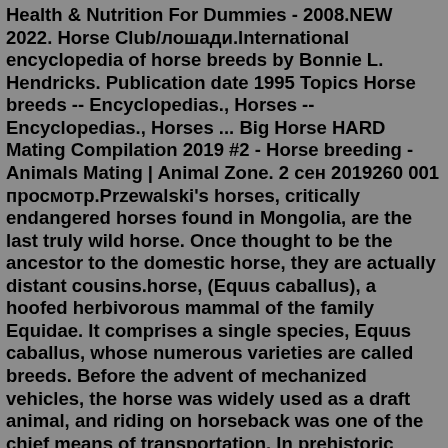Health & Nutrition For Dummies - 2008.NEW 2022. Horse Club/лошади.International encyclopedia of horse breeds by Bonnie L. Hendricks. Publication date 1995 Topics Horse breeds -- Encyclopedias., Horses -- Encyclopedias., Horses ... Big Horse HARD Mating Compilation 2019 #2 - Horse breeding - Animals Mating | Animal Zone. 2 сен 2019260 001 просмотр.Przewalski's horses, critically endangered horses found in Mongolia, are the last truly wild horse. Once thought to be the ancestor to the domestic horse, they are actually distant cousins.horse, (Equus caballus), a hoofed herbivorous mammal of the family Equidae. It comprises a single species, Equus caballus, whose numerous varieties are called breeds. Before the advent of mechanized vehicles, the horse was widely used as a draft animal, and riding on horseback was one of the chief means of transportation. In prehistoric times the wild horse was probably first hunted for food ... Rev. ed. of: The encyclopedia of the horse. 1994. Access-restricted-item true Addeddate 2011-10-20 16:11:23 Boxid